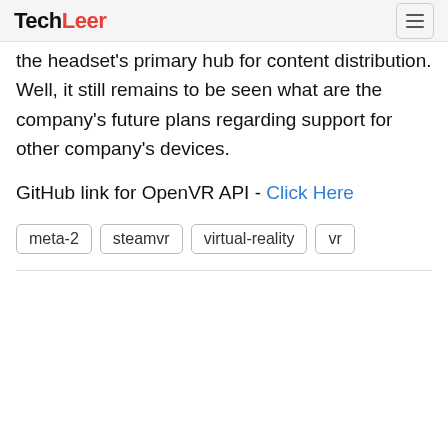TechLeer
the headset's primary hub for content distribution. Well, it still remains to be seen what are the company's future plans regarding support for other company's devices.
GitHub link for OpenVR API - Click Here
meta-2
steamvr
virtual-reality
vr